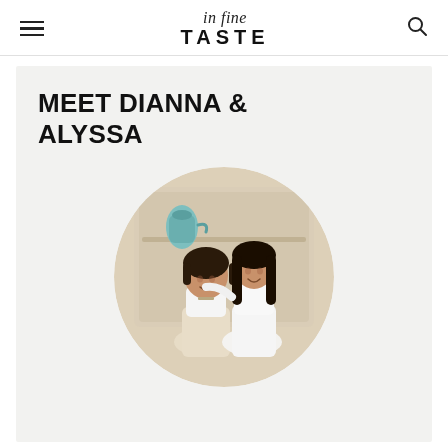in fine TASTE
MEET DIANNA & ALYSSA
[Figure (photo): Circular portrait photo of two women — Dianna and Alyssa — smiling in aprons, standing before a white distressed cabinet with a teal pitcher on the shelf. Background is warm cream/beige tones.]